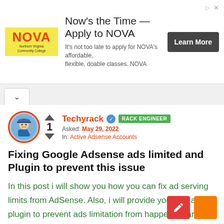[Figure (advertisement): NOVA Northern Virginia Community College ad banner. Headline: Now's the Time — Apply to NOVA. Subtext: It's not too late to apply for NOVA's affordable, flexible, doable classes. NOVA. Button: Learn More.]
^
[Figure (other): User avatar: cartoon character with blue shirt and cap, inside orange circle border]
Techyrack  RACK ENGINEER
Asked: May 29, 2022
In: Active Adsense Accounts
Fixing Google Adsense ads limited and Plugin to prevent this issue
In this post i will show you how you can fix ad serving limits from AdSense. Also, i will provide you with a plugin to prevent ads limitation from happening and this will surely help you alot. Common reasons AdSense accounts are ...
Read More